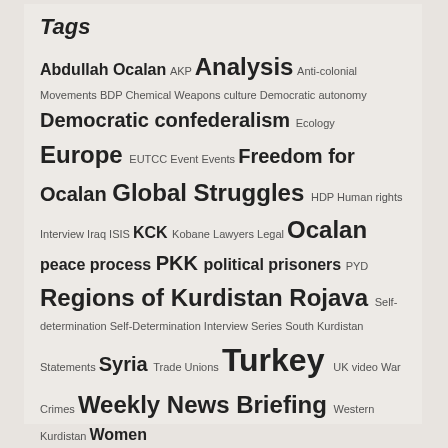Tags
Abdullah Ocalan AKP Analysis Anti-colonial Movements BDP Chemical Weapons culture Democratic autonomy Democratic confederalism Ecology Europe EUTCC Event Events Freedom for Ocalan Global Struggles HDP Human rights Interview Iraq ISIS KCK Kobane Lawyers Legal Ocalan peace process PKK political prisoners PYD Regions of Kurdistan Rojava Self-determination Self-Determination Interview Series South Kurdistan Statements Syria Trade Unions Turkey UK video War Crimes Weekly News Briefing Western Kurdistan Women